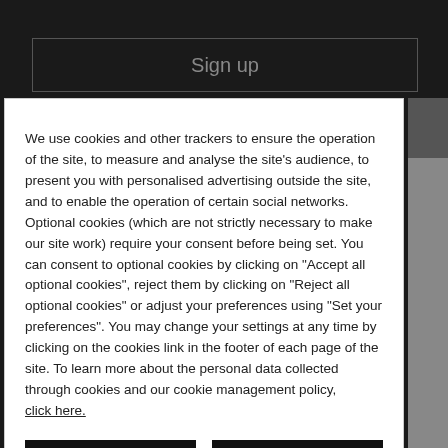[Figure (screenshot): Sign up button with dark background and gray border]
We use cookies and other trackers to ensure the operation of the site, to measure and analyse the site's audience, to present you with personalised advertising outside the site, and to enable the operation of certain social networks. Optional cookies (which are not strictly necessary to make our site work) require your consent before being set. You can consent to optional cookies by clicking on "Accept all optional cookies", reject them by clicking on "Reject all optional cookies" or adjust your preferences using "Set your preferences". You may change your settings at any time by clicking on the cookies link in the footer of each page of the site. To learn more about the personal data collected through cookies and our cookie management policy, click here.
ACCEPT ALL OPTIONAL COOKIES
REJECT ALL OPTIONAL COOKIES